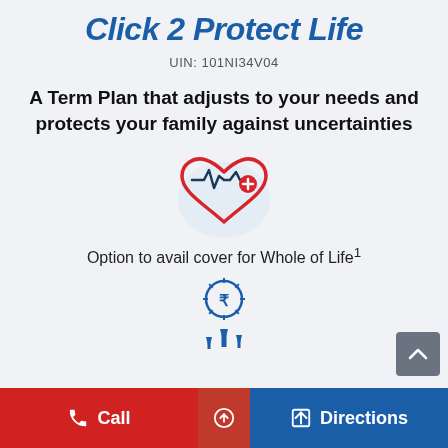Click 2 Protect Life
UIN: 101NI34V04
A Term Plan that adjusts to your needs and protects your family against uncertainties
[Figure (illustration): Heart icon with ECG/heartbeat line and a red plus circle — health/life insurance symbol]
Option to avail cover for Whole of Life¹
[Figure (illustration): Rupee coin icon with upward-pointing arrows — symbolizing increasing coverage or returns]
Call | (up arrow) | Directions